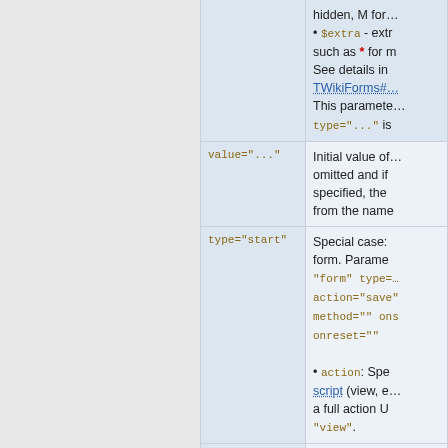| Parameter | Description |
| --- | --- |
|  | hidden, M for...
• $extra - extra... such as * for m... See details in TWikiForms#... This parame... type="..." is |
| value="..." | Initial value of... omitted and if... specified, the... from the name |
| type="start" | Special case:... form. Parame... "form" type=... action="save"... method="" ons... onreset=""
• action: Spec... script (view, e... a full action U... "view". |